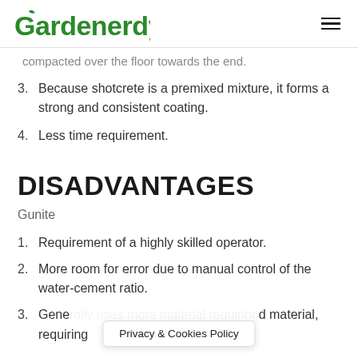Gardenerdy
compacted over the floor towards the end.
3. Because shotcrete is a premixed mixture, it forms a strong and consistent coating.
4. Less time requirement.
DISADVANTAGES
Gunite
1. Requirement of a highly skilled operator.
2. More room for error due to manual control of the water-cement ratio.
3. Gene... d material, requiring
Privacy & Cookies Policy